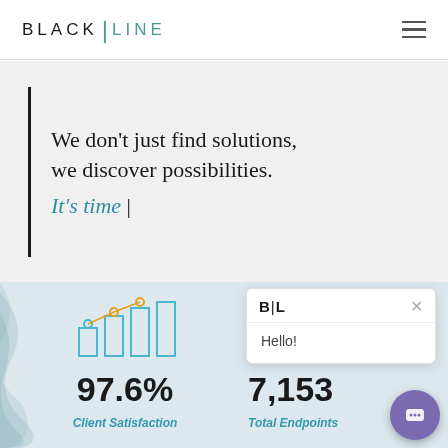[Figure (logo): BlackLine logo with teal vertical separator between BLACK and LINE]
We don't just find solutions, we discover possibilities. It's time |
[Figure (infographic): Bar and line chart icon in light blue/teal style]
97.6%
Client Satisfaction
[Figure (illustration): Server/endpoint icon in teal style]
7,153
Total Endpoints
[Figure (screenshot): BlackLine chat popup with B|L logo header, X close button, and Hello! greeting text]
[Figure (other): Purple circular chat button in bottom right corner]